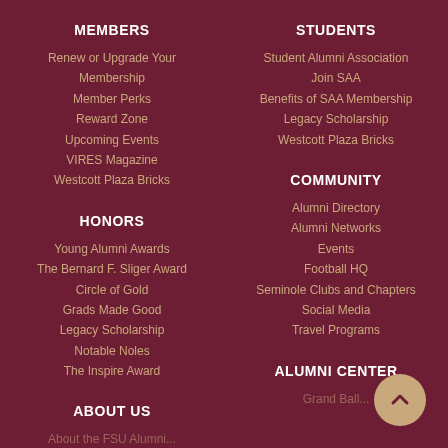MEMBERS
Renew or Upgrade Your Membership
Member Perks
Reward Zone
Upcoming Events
VIRES Magazine
Westcott Plaza Bricks
STUDENTS
Student Alumni Association
Join SAA
Benefits of SAA Membership
Legacy Scholarship
Westcott Plaza Bricks
HONORS
Young Alumni Awards
The Bernard F. Sliger Award
Circle of Gold
Grads Made Good
Legacy Scholarship
Notable Noles
The Inspire Award
COMMUNITY
Alumni Directory
Alumni Networks
Events
Football HQ
Seminole Clubs and Chapters
Social Media
Travel Programs
ABOUT US
ALUMNI CENTER